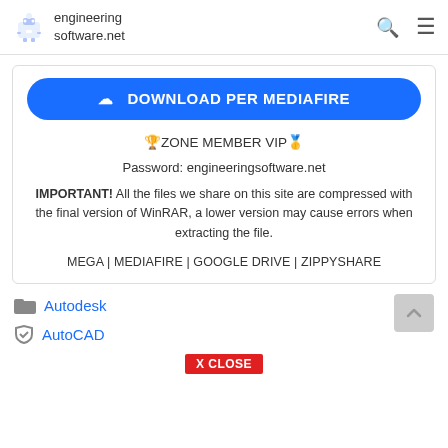engineering software.net
[Figure (other): Blue rounded download button labeled DOWNLOAD PER MEDIAFIRE with cloud download icon]
🏆ZONE MEMBER VIP🥇
Password: engineeringsoftware.net
IMPORTANT! All the files we share on this site are compressed with the final version of WinRAR, a lower version may cause errors when extracting the file.
MEGA | MEDIAFIRE | GOOGLE DRIVE | ZIPPYSHARE
Autodesk
AutoCAD
CLOSE